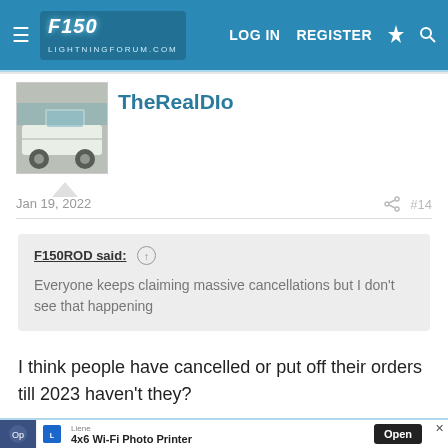F150 LightningForum.com — LOG IN  REGISTER
[Figure (photo): Avatar photo of a white Ford F-150 Lightning truck in a parking lot]
TheRealDIo
Jan 19, 2022
#14
F150ROD said: ↑

Everyone keeps claiming massive cancellations but I don't see that happening
I think people have cancelled or put off their orders till 2023 haven't they?
[Figure (screenshot): Advertisement: Liene 4x6 Wi-Fi Photo Printer with Open button]